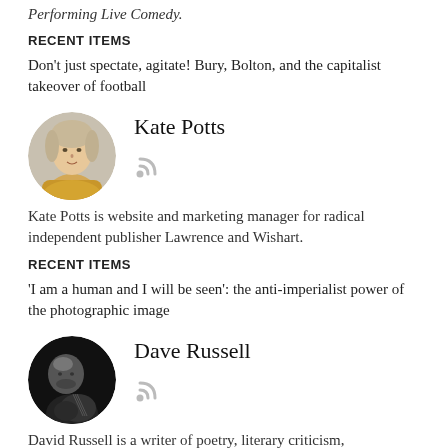Performing Live Comedy.
RECENT ITEMS
Don't just spectate, agitate! Bury, Bolton, and the capitalist takeover of football
[Figure (photo): Circular portrait photo of Kate Potts, a woman with light hair wearing a yellow top]
Kate Potts
Kate Potts is website and marketing manager for radical independent publisher Lawrence and Wishart.
RECENT ITEMS
'I am a human and I will be seen': the anti-imperialist power of the photographic image
[Figure (photo): Circular black and white portrait photo of Dave Russell playing guitar]
Dave Russell
David Russell is a writer of poetry, literary criticism,